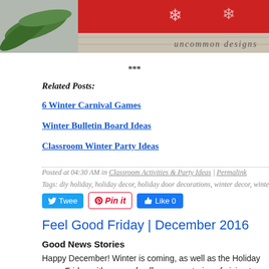[Figure (photo): Top portion of a blog post image showing a red holiday door mat with snowflake design and green fern plant, with 'uncommon designs' watermark]
***
Related Posts:
6 Winter Carnival Games
Winter Bulletin Board Ideas
Classroom Winter Party Ideas
Posted at 04:30 AM in Classroom Activities & Party Ideas | Permalink
Tags: diy holiday, holiday decor, holiday door decorations, winter decor, winter door
Feel Good Friday | December 2016
Good News Stories
Happy December! Winter is coming, as well as the Holiday sea... Friday with a cup of coffee some stories of giving to warm your...